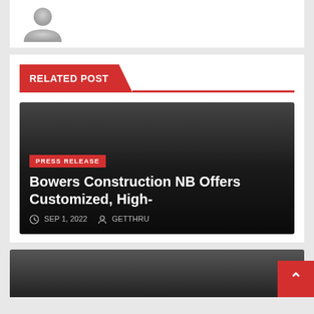[Figure (illustration): Grey avatar/profile placeholder image (person silhouette shape) on white card background]
RELATED POST
[Figure (photo): Dark gradient card with PRESS RELEASE red badge, title 'Bowers Construction NB Offers Customized, High-', and metadata showing SEP 1, 2022 and GETTHRU]
[Figure (photo): Dark gradient card at bottom, partially visible]